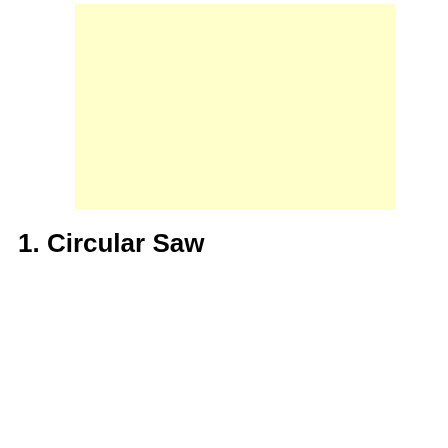[Figure (other): A large light yellow rectangular area, appears to be a placeholder or image area with pale yellow background.]
1. Circular Saw